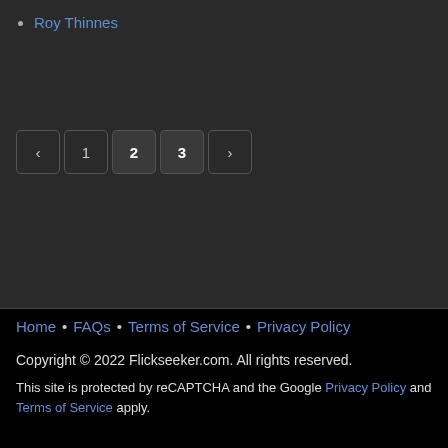Roy Thinnes
< 1 2 3 >
Home • FAQs • Terms of Service • Privacy Policy
Copyright © 2022 Flickseeker.com. All rights reserved.
This site is protected by reCAPTCHA and the Google Privacy Policy and Terms of Service apply.